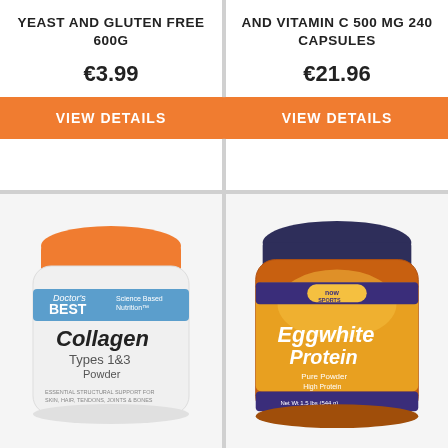YEAST AND GLUTEN FREE 600G
€3.99
VIEW DETAILS
AND VITAMIN C 500 MG 240 CAPSULES
€21.96
VIEW DETAILS
[Figure (photo): Doctor's Best Collagen Types 1&3 Powder 7.1oz (200 grams) white container with orange lid]
[Figure (photo): Now Sports Eggwhite Protein Pure Powder, High Protein orange container with purple lid]